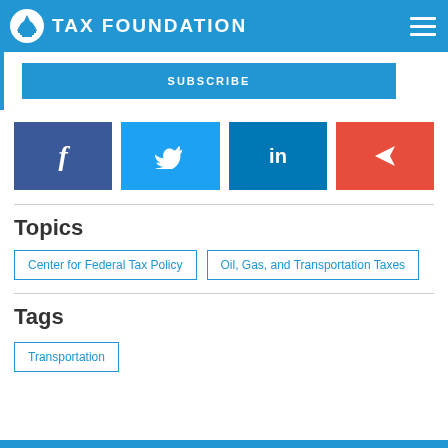TAX FOUNDATION
[Figure (screenshot): Subscribe button bar with blue background]
[Figure (infographic): Social media share buttons: Facebook (blue), Twitter (light blue), LinkedIn (dark blue), Email/Share (red)]
Topics
Center for Federal Tax Policy | Oil, Gas, and Transportation Taxes
Tags
Transportation